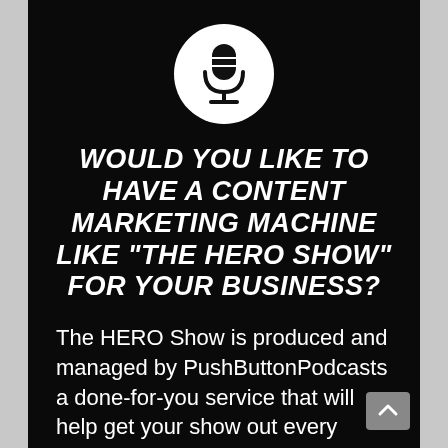[Figure (logo): White circle containing a black microphone icon]
WOULD YOU LIKE TO HAVE A CONTENT MARKETING MACHINE LIKE "THE HERO SHOW" FOR YOUR BUSINESS?
The HERO Show is produced and managed by PushButtonPodcasts a done-for-you service that will help get your show out every single week without you lifting a finger after you've pushed that "stop record" button.
They handle everything else: